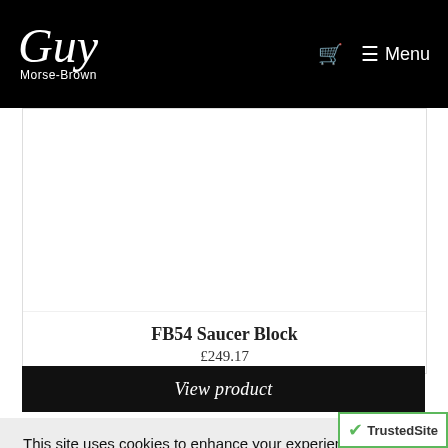Guy Morse-Brown — Menu
[Figure (photo): Product image area for FB54 Saucer Block (white/blank space shown)]
FB54 Saucer Block
£249.17
View product
This site uses cookies to enhance your experience, and help us improve our site. If you want to know more about cookies, please click the read more link.
Allow Cookies
Disable Cookies
Read More
[Figure (logo): TrustedSite badge with green checkmark shield]